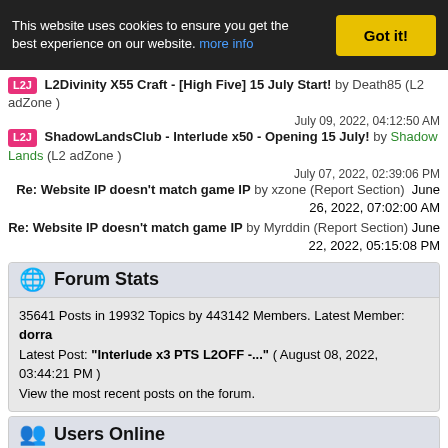This website uses cookies to ensure you get the best experience on our website. more info | Got it!
[L2J] L2Divinity X55 Craft - [High Five] 15 July Start! by Death85 (L2 adZone )
July 09, 2022, 04:12:50 AM
[L2J] ShadowLandsClub - Interlude x50 - Opening 15 July! by Shadow Lands (L2 adZone )
July 07, 2022, 02:39:06 PM
Re: Website IP doesn't match game IP by xzone (Report Section)  June 26, 2022, 07:02:00 AM
Re: Website IP doesn't match game IP by Myrddin (Report Section)  June 22, 2022, 05:15:08 PM
Forum Stats
35641 Posts in 19932 Topics by 443142 Members. Latest Member: dorra
Latest Post: "Interlude x3 PTS L2OFF -..." ( August 08, 2022, 03:44:21 PM )
View the most recent posts on the forum.
Users Online
Users active in past 450 minutes:
sebastian franco, Andres Torrealba, Bartek Slabinski, Dimka Oslenko, pale 704, Nov3mber (Вова), Peter Zihala, pgv19, iioxs, Daria Tiutina, Сережа Кремлёв, Robert Otvos, Γιωργος Οικονομου, Katia Kopanchuk, Mỹ Duyên, Dima